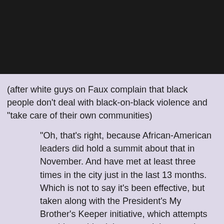[Figure (photo): Black rectangle occupying the top portion of the page, representing a redacted or blank image area.]
(after white guys on Faux complain that black people don't deal with black-on-black violence and "take care of their own communities)
"Oh, that's right, because African-American leaders did hold a summit about that in November. And have met at least three times in the city just in the last 13 months. Which is not to say it's been effective, but taken along with the President's My Brother's Keeper initiative, which attempts to address this violence, and the countless vigils and marches within these violence-torn communities means they are trying, actually, to do something. You see, you being ignorant of these attempts doesn't mean the